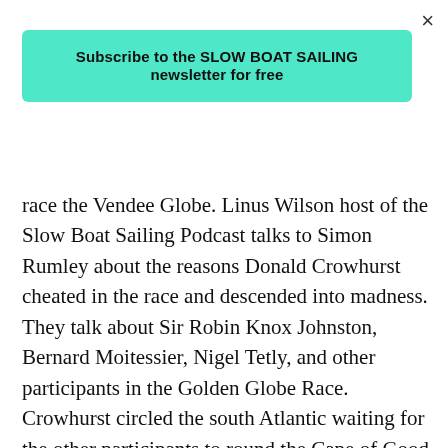×
Subscribe to the SLOW BOAT SAILING newsletter for free
race the Vendee Globe. Linus Wilson host of the Slow Boat Sailing Podcast talks to Simon Rumley about the reasons Donald Crowhurst cheated in the race and descended into madness. They talk about Sir Robin Knox Johnston, Bernard Moitessier, Nigel Tetly, and other participants in the Golden Globe Race. Crowhurst circled the south Atlantic waiting for the other participants to round the Cape of Good Hope and Cape Horn after sailing the stormy southern Ocean. Crowhurst made a disqualifying stop in Argentina's Rio Salado.